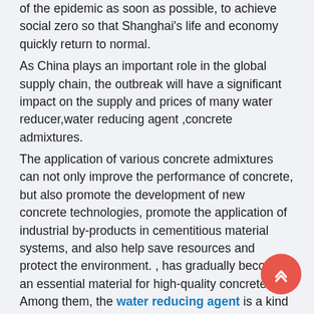of the epidemic as soon as possible, to achieve social zero so that Shanghai's life and economy quickly return to normal. As China plays an important role in the global supply chain, the outbreak will have a significant impact on the supply and prices of many water reducer,water reducing agent ,concrete admixtures. The application of various concrete admixtures can not only improve the performance of concrete, but also promote the development of new concrete technologies, promote the application of industrial by-products in cementitious material systems, and also help save resources and protect the environment. , has gradually become an essential material for high-quality concrete. Among them, the water reducing agent is a kind of concrete, and the reducing agent is a concrete admixture that can reduce mixing water consumption under the condition that the